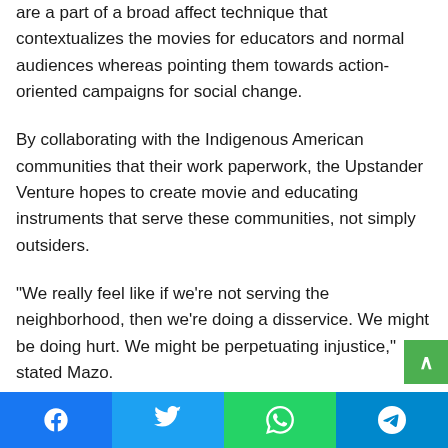are a part of a broad affect technique that contextualizes the movies for educators and normal audiences whereas pointing them towards action-oriented campaigns for social change.
By collaborating with the Indigenous American communities that their work paperwork, the Upstander Venture hopes to create movie and educating instruments that serve these communities, not simply outsiders.
“We really feel like if we’re not serving the neighborhood, then we’re doing a disservice. We might be doing hurt. We might be perpetuating injustice,” stated Mazo.
Mazo and his staff are additionally pushed to vary the panorama of the documentary style, which was born out of extractive colonial practices, by forging a brand new path with